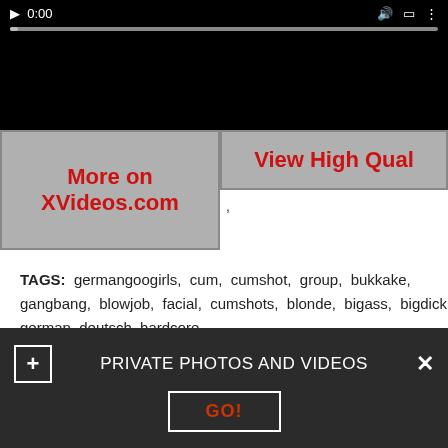[Figure (screenshot): Video player showing black screen with play button, timestamp 0:00, and a grey progress bar at top]
[Figure (screenshot): Two grey buttons side by side: 'More on XVideos.com' and 'View High Qual' in red bold text]
TAGS: germangoogirls, cum, cumshot, group, bukkake, gangbang, blowjob, facial, cumshots, blonde, bigass, bigdick, german, deutsch, hardcore
PRIVATE PHOTOS AND VIDEOS GO!